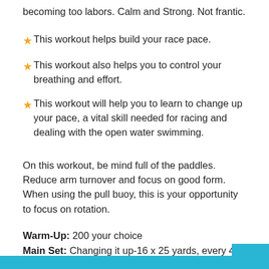becoming too labors. Calm and Strong. Not frantic.
This workout helps build your race pace.
This workout also helps you to control your breathing and effort.
This workout will help you to learn to change up your pace, a vital skill needed for racing and dealing with the open water swimming.
On this workout, be mind full of the paddles. Reduce arm turnover and focus on good form. When using the pull buoy, this is your opportunity to focus on rotation.
Warm-Up: 200 your choice
Main Set: Changing it up-16 x 25 yards, every 4th fast-300 yards, steady swim-12 x 25 yards, every 3rd fast-300 yards, paddles-8 x 25 yards, every 2nd fast-300 yards, pull buoy-4 x 25 yards, all fast-300 yards, paddles and pull buoy